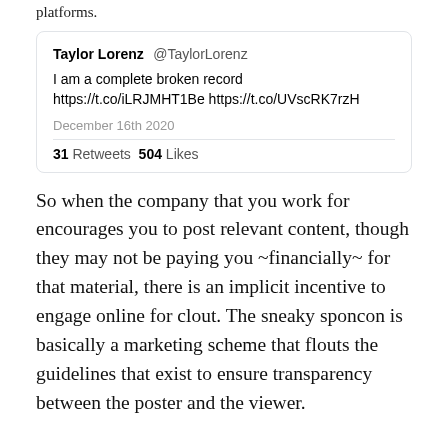platforms.
[Figure (screenshot): Tweet by Taylor Lorenz (@TaylorLorenz): 'I am a complete broken record https://t.co/iLRJMHT1Be https://t.co/UVscRK7rzH'. Date: December 16th 2020. Stats: 31 Retweets 504 Likes.]
So when the company that you work for encourages you to post relevant content, though they may not be paying you ~financially~ for that material, there is an implicit incentive to engage online for clout. The sneaky sponcon is basically a marketing scheme that flouts the guidelines that exist to ensure transparency between the poster and the viewer.